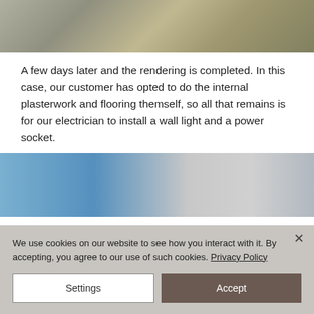[Figure (photo): Aerial or overhead view of construction/building work with concrete and stone materials]
A few days later and the rendering is completed. In this case, our customer has opted to do the internal plasterwork and flooring themself, so all that remains is for our electrician to install a wall light and a power socket.
[Figure (photo): Exterior view of a building with white render/cladding, a black lamp post, and blue sky background]
We use cookies on our website to see how you interact with it. By accepting, you agree to our use of such cookies. Privacy Policy
Settings
Accept